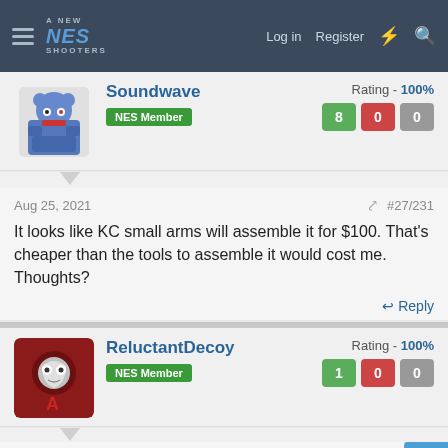NES Shooters — Log in Register
Soundwave — NES Member — Rating - 100% — 8 0 0
Aug 25, 2021 — #27/231
It looks like KC small arms will assemble it for $100. That's cheaper than the tools to assemble it would cost me. Thoughts?
Reply
ReluctantDecoy — NES Member — Rating - 100% — 1 0 0
Aug 25, 2021 — #28/231
Soundwave said: ↑
It looks like KC small arms will assemble it for $100. That's cheaper than the tools to assemble it would cost me. Thoughts?